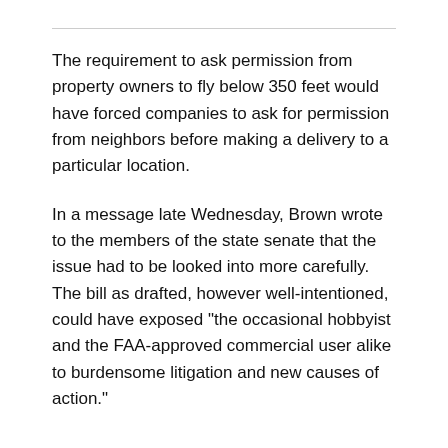The requirement to ask permission from property owners to fly below 350 feet would have forced companies to ask for permission from neighbors before making a delivery to a particular location.
In a message late Wednesday, Brown wrote to the members of the state senate that the issue had to be looked into more carefully. The bill as drafted, however well-intentioned, could have exposed "the occasional hobbyist and the FAA-approved commercial user alike to burdensome litigation and new causes of action."